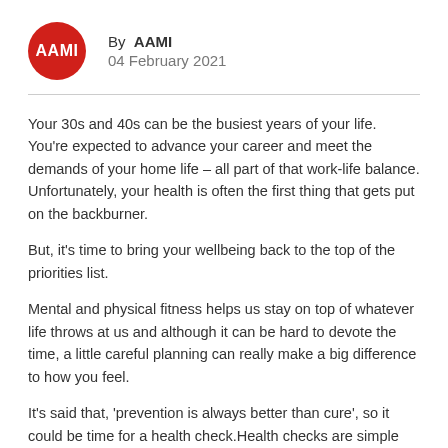[Figure (logo): AAMI red circular logo with white AAMI text]
By  AAMI
04 February 2021
Your 30s and 40s can be the busiest years of your life. You're expected to advance your career and meet the demands of your home life – all part of that work-life balance. Unfortunately, your health is often the first thing that gets put on the backburner.
But, it's time to bring your wellbeing back to the top of the priorities list.
Mental and physical fitness helps us stay on top of whatever life throws at us and although it can be hard to devote the time, a little careful planning can really make a big difference to how you feel.
It's said that, 'prevention is always better than cure', so it could be time for a health check.Health checks are simple tests or check-ups designed to catch conditions at an early stage when there are no symptoms.